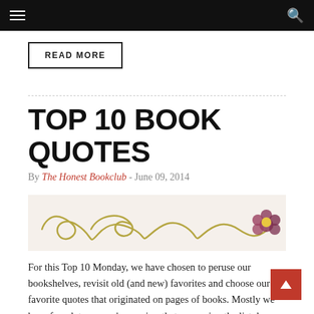Navigation bar with menu and search icons
READ MORE
TOP 10 BOOK QUOTES
By The Honest Bookclub - June 09, 2014
[Figure (illustration): Decorative swirl/flourish illustration with a flower on the right end, done in a hand-drawn style on a cream background.]
For this Top 10 Monday, we have chosen to peruse our bookshelves, revisit old (and new) favorites and choose our ten favorite quotes that originated on pages of books. Mostly we have found, to no one's surprise, that narrowing the list down to only ten is a Herculean task. But we've